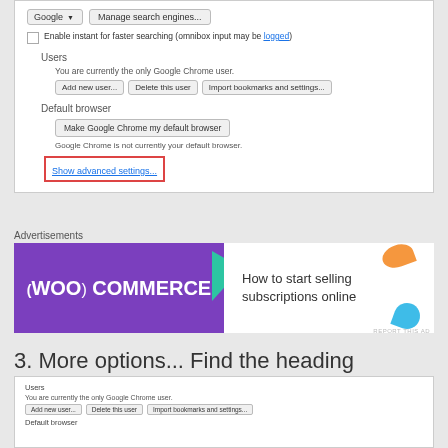[Figure (screenshot): Google Chrome settings page showing search engine dropdown (Google), Manage search engines button, enable instant search checkbox, Users section with Add new user/Delete this user/Import bookmarks buttons, Default browser section with Make Google Chrome my default browser button, and Show advanced settings link highlighted with red border]
Advertisements
[Figure (screenshot): WooCommerce advertisement banner: purple left side with WooCommerce logo and teal arrow, white right side with text 'How to start selling subscriptions online', orange and blue decorative shapes]
3. More options... Find the heading 'Privacy' and click on Content Settings.
[Figure (screenshot): Bottom partial screenshot of Chrome settings showing Users section with Add new user, Delete this user, Import bookmarks and settings buttons, and Default browser heading]